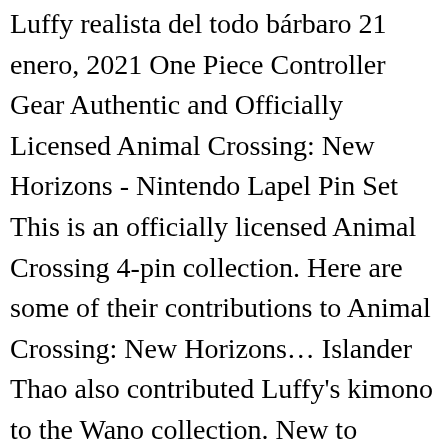Luffy realista del todo bárbaro 21 enero, 2021 One Piece Controller Gear Authentic and Officially Licensed Animal Crossing: New Horizons - Nintendo Lapel Pin Set This is an officially licensed Animal Crossing 4-pin collection. Here are some of their contributions to Animal Crossing: New Horizons… Islander Thao also contributed Luffy's kimono to the Wano collection. New to Animal Crossing: New Horizons? Yet another impressive milestone reached by Animal Crossing: New Horizons, during a year which otherwise brought a fair amount of misfortune with